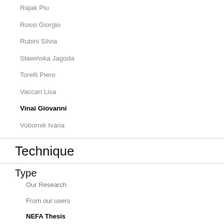Rajak Piu
Rossi Giorgio
Rubini Silvia
Sławińska Jagoda
Torelli Piero
Vaccari Lisa
Vinai Giovanni
Vobornik Ivana
Technique
Type
Our Research
From our users
NEFA Thesis